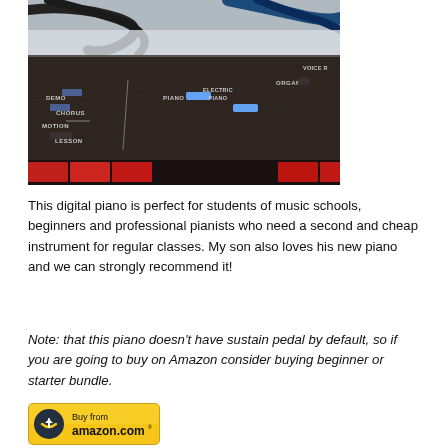[Figure (photo): Close-up photo of a digital piano control panel showing buttons labeled DEMO, CHORUS, MOTION, LESSON, PIANO, ELECTRIC PIANO, ORGAN, VOICE with blue indicator lights, and red piano keys visible at bottom edge.]
This digital piano is perfect for students of music schools, beginners and professional pianists who need a second and cheap instrument for regular classes. My son also loves his new piano and we can strongly recommend it!
Note: that this piano doesn't have sustain pedal by default, so if you are going to buy on Amazon consider buying beginner or starter bundle.
[Figure (logo): Buy from amazon.com button - gold/yellow rounded rectangle button with Amazon logo arrow and text 'Buy from amazon.com']